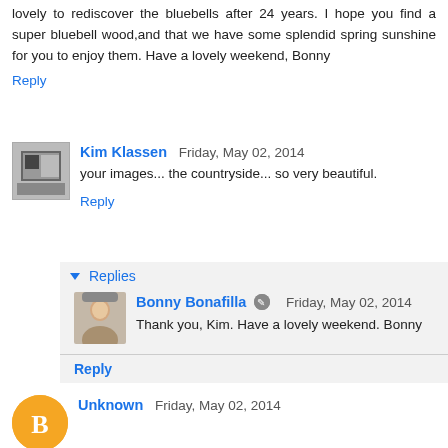lovely to rediscover the bluebells after 24 years. I hope you find a super bluebell wood, and that we have some splendid spring sunshine for you to enjoy them. Have a lovely weekend, Bonny
Reply
Kim Klassen  Friday, May 02, 2014
your images... the countryside... so very beautiful.
Reply
Replies
Bonny Bonafilla  Friday, May 02, 2014
Thank you, Kim. Have a lovely weekend. Bonny
Reply
Unknown  Friday, May 02, 2014